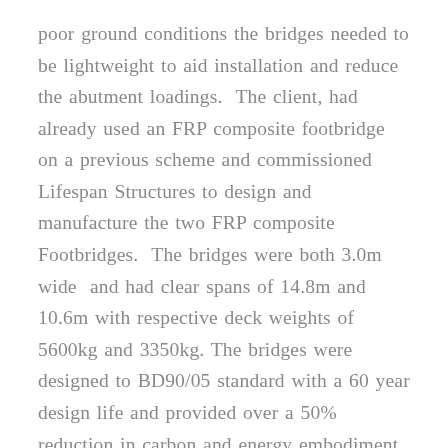poor ground conditions the bridges needed to be lightweight to aid installation and reduce the abutment loadings.  The client, had already used an FRP composite footbridge on a previous scheme and commissioned Lifespan Structures to design and manufacture the two FRP composite Footbridges.  The bridges were both 3.0m wide  and had clear spans of 14.8m and 10.6m with respective deck weights of 5600kg and 3350kg. The bridges were designed to BD90/05 standard with a 60 year design life and provided over a 50% reduction in carbon and energy embodiment when compared to the steel footbridge option.  The parapets are 1.4m high galvanised steel and powder coated.  The bridges were designed with a longitudinal camber to improve aesthetics and the client was able to select a colour scheme which complemented the surrounding environment.